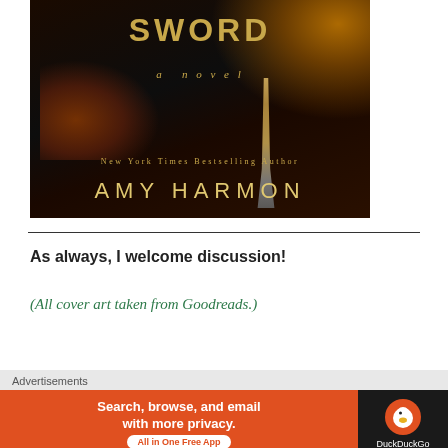[Figure (illustration): Book cover for a novel titled 'SWORD' by Amy Harmon (New York Times Bestselling Author). Dark background with golden/amber lighting, featuring a sword and atmospheric fire/smoke elements. Text on cover: 'SWORD', 'a novel', 'New York Times Bestselling Author', 'AMY HARMON'.]
As always, I welcome discussion!
(All cover art taken from Goodreads.)
Advertisements
[Figure (screenshot): DuckDuckGo advertisement banner reading 'Search, browse, and email with more privacy. All in One Free App' on an orange background with DuckDuckGo logo on black background.]